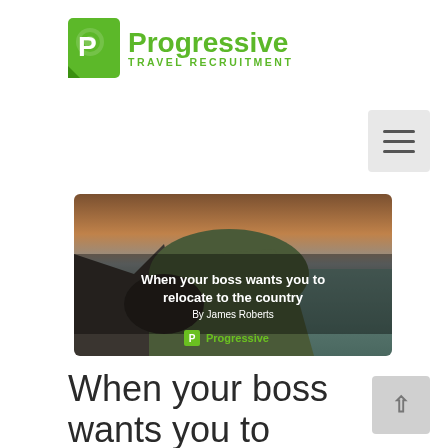[Figure (logo): Progressive Travel Recruitment logo with green P icon and green text]
[Figure (other): Hamburger menu icon button (three horizontal lines) on grey background]
[Figure (photo): Scenic coastal cliff landscape photo with text overlay: 'When your boss wants you to relocate to the country' by James Roberts, with Progressive logo watermark]
When your boss wants you to relocate to the country